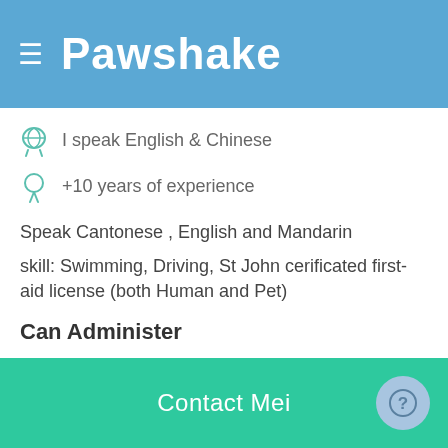Pawshake
I speak English & Chinese
+10 years of experience
Speak Cantonese , English and Mandarin
skill: Swimming, Driving, St John cerificated first-aid license (both Human and Pet)
Can Administer
Oral medications
First aid and CPR for pets
Experience with
Contact Mei